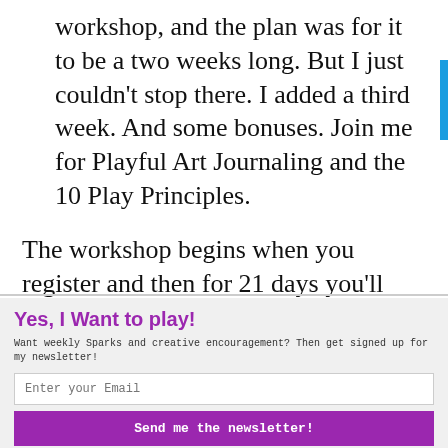workshop, and the plan was for it to be a two weeks long. But I just couldn't stop there. I added a third week. And some bonuses. Join me for Playful Art Journaling and the 10 Play Principles.
The workshop begins when you register and then for 21 days you'll get a new video!
Yes, I Want to play!
Want weekly Sparks and creative encouragement? Then get signed up for my newsletter!
Enter your Email
Send me the newsletter!
Yes, I would like you to send me a newsletter.